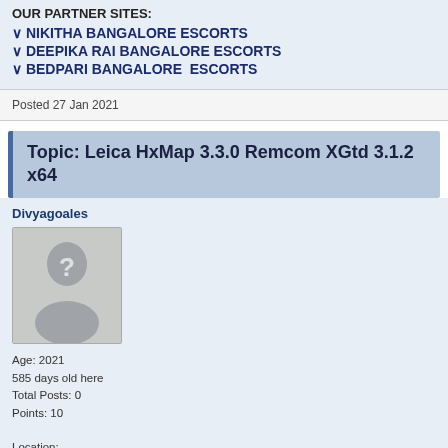OUR PARTNER SITES:
∨ NIKITHA BANGALORE ESCORTS
∨ DEEPIKA RAI BANGALORE ESCORTS
∨ BEDPARI BANGALORE  ESCORTS
Posted 27 Jan 2021
Topic: Leica HxMap 3.3.0 Remcom XGtd 3.1.2 x64
Divyagoales
[Figure (illustration): Default user avatar placeholder with question mark silhouette]
Age: 2021
585 days old here
Total Posts: 0
Points: 10
Location:
,
Aunty Escorts in Bangalore | Bangalore Escorts Review |